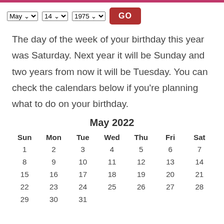Controls: May | 14 | 1975 | GO
The day of the week of your birthday this year was Saturday. Next year it will be Sunday and two years from now it will be Tuesday. You can check the calendars below if you're planning what to do on your birthday.
| Sun | Mon | Tue | Wed | Thu | Fri | Sat |
| --- | --- | --- | --- | --- | --- | --- |
| 1 | 2 | 3 | 4 | 5 | 6 | 7 |
| 8 | 9 | 10 | 11 | 12 | 13 | 14 |
| 15 | 16 | 17 | 18 | 19 | 20 | 21 |
| 22 | 23 | 24 | 25 | 26 | 27 | 28 |
| 29 | 30 | 31 |  |  |  |  |